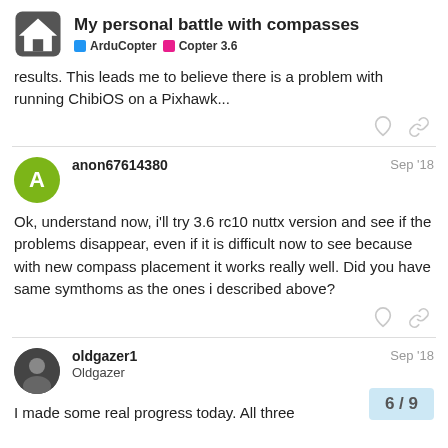My personal battle with compasses | ArduCopter  Copter 3.6
results. This leads me to believe there is a problem with running ChibiOS on a Pixhawk...
anon67614380  Sep '18
Ok, understand now, i'll try 3.6 rc10 nuttx version and see if the problems disappear, even if it is difficult now to see because with new compass placement it works really well. Did you have same symthoms as the ones i described above?
oldgazer1  Oldgazer  Sep '18
I made some real progress today. All three
6 / 9